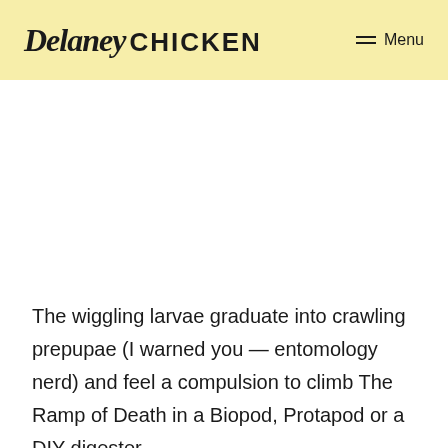Delaney CHICKEN  ≡ Menu
The wiggling larvae graduate into crawling prepupae (I warned you — entomology nerd) and feel a compulsion to climb The Ramp of Death in a Biopod, Protapod or a DIY digester.